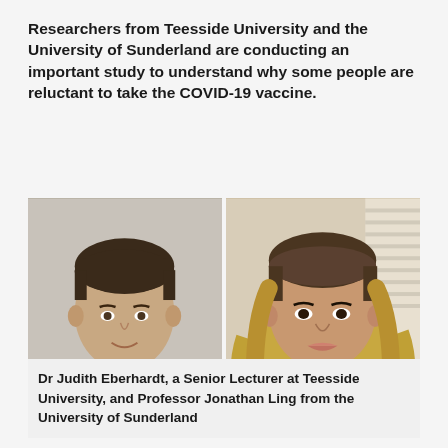Researchers from Teesside University and the University of Sunderland are conducting an important study to understand why some people are reluctant to take the COVID-19 vaccine.
[Figure (photo): Two side-by-side headshot photos of researchers: on the left, a man in a striped shirt with short brown hair; on the right, a woman with long wavy blonde-highlighted hair. An orange bar separates the photos from the caption below.]
Dr Judith Eberhardt, a Senior Lecturer at Teesside University, and Professor Jonathan Ling from the University of Sunderland